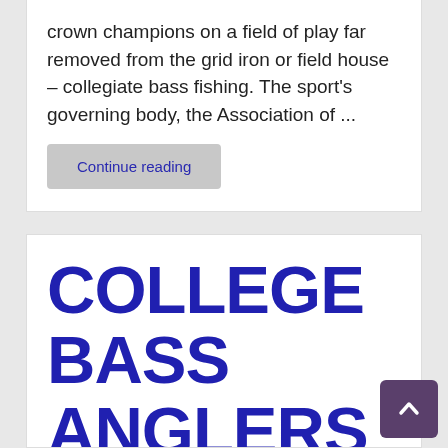crown champions on a field of play far removed from the grid iron or field house – collegiate bass fishing. The sport's governing body, the Association of ...
Continue reading
COLLEGE BASS ANGLERS TO COMPETE IN LARGEST EVER